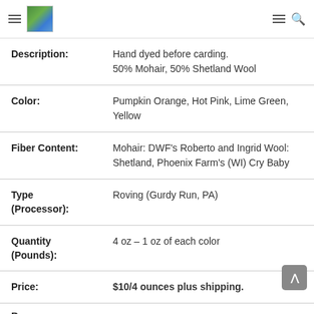Navigation header with hamburger menu, logo, hamburger menu, and search icon
| Field | Value |
| --- | --- |
| Description: | Hand dyed before carding.
50% Mohair, 50% Shetland Wool |
| Color: | Pumpkin Orange, Hot Pink, Lime Green, Yellow |
| Fiber Content: | Mohair: DWF's Roberto and Ingrid Wool: Shetland, Phoenix Farm's (WI) Cry Baby |
| Type (Processor): | Roving (Gurdy Run, PA) |
| Quantity (Pounds): | 4 oz  – 1 oz of each color |
| Price: | $10/4 ounces plus shipping. |
Buy: